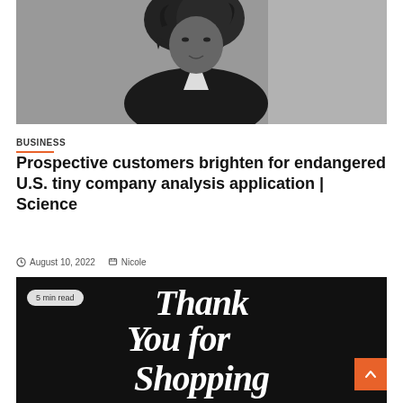[Figure (photo): Black and white portrait photo of a woman in a blazer, looking slightly to the side near a window]
BUSINESS
Prospective customers brighten for endangered U.S. tiny company analysis application | Science
August 10, 2022   Nicole
[Figure (photo): Black background with decorative serif italic white text reading 'Thank You for Shopping', with a '5 min read' badge overlay and an orange scroll-up button]